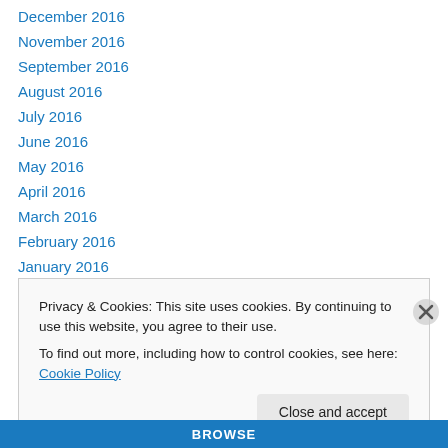December 2016
November 2016
September 2016
August 2016
July 2016
June 2016
May 2016
April 2016
March 2016
February 2016
January 2016
December 2015
November 2015
Privacy & Cookies: This site uses cookies. By continuing to use this website, you agree to their use.
To find out more, including how to control cookies, see here: Cookie Policy
Close and accept